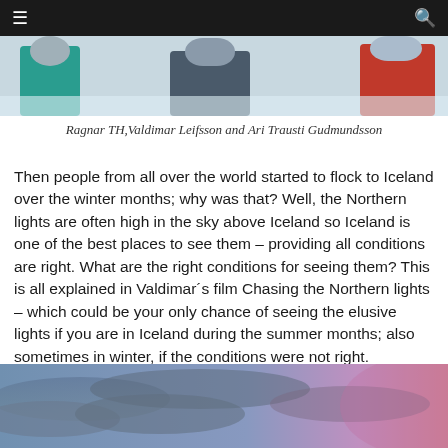Navigation bar with hamburger menu and search icon
[Figure (photo): Top portion of a photo showing people in colorful winter clothing outdoors in Iceland]
Ragnar TH,Valdimar Leifsson and Ari Trausti Gudmundsson
Then people from all over the world started to flock to Iceland over the winter months; why was that? Well, the Northern lights are often high in the sky above Iceland so Iceland is one of the best places to see them – providing all conditions are right. What are the right conditions for seeing them? This is all explained in Valdimar´s film Chasing the Northern lights – which could be your only chance of seeing the elusive lights if you are in Iceland during the summer months; also sometimes in winter, if the conditions were not right.
[Figure (photo): Bottom portion of a photo showing a dramatic sky with blue and pink/purple tones, likely depicting northern lights or aurora conditions]